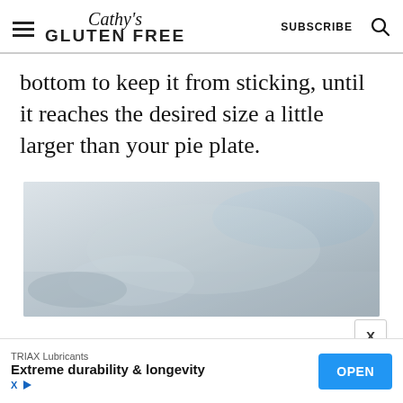Cathy's GLUTEN FREE | SUBSCRIBE
bottom to keep it from sticking, until it reaches the desired size a little larger than your pie plate.
[Figure (photo): Blurred food photo showing pie dough being rolled out, light blue-grey tones]
TRIAX Lubricants — Extreme durability & longevity — OPEN